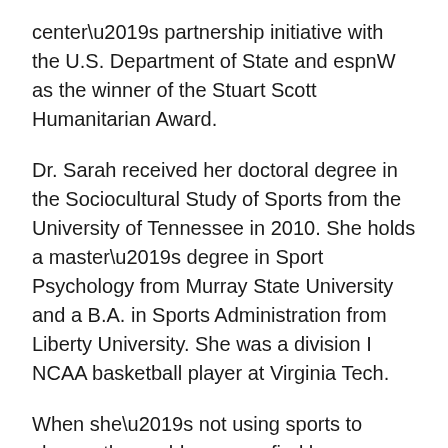center's partnership initiative with the U.S. Department of State and espnW as the winner of the Stuart Scott Humanitarian Award.
Dr. Sarah received her doctoral degree in the Sociocultural Study of Sports from the University of Tennessee in 2010. She holds a master's degree in Sport Psychology from Murray State University and a B.A. in Sports Administration from Liberty University. She was a division I NCAA basketball player at Virginia Tech.
When she’s not using sports to change the world, you can find her spending quality time with family, playing one-on-one basketball with her nephew, or day-dreaming about what the world will look like when everyone realizes their full potential and unleashes their best selves for the sake of all humanity.